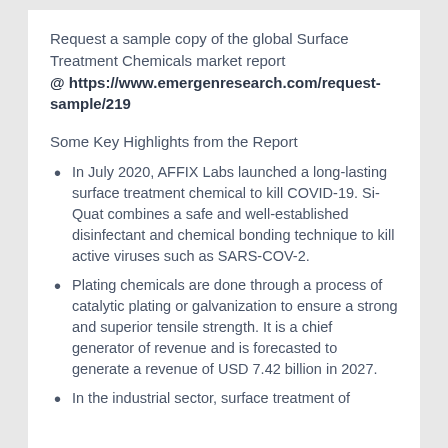Request a sample copy of the global Surface Treatment Chemicals market report @ https://www.emergenresearch.com/request-sample/219
Some Key Highlights from the Report
In July 2020, AFFIX Labs launched a long-lasting surface treatment chemical to kill COVID-19. Si-Quat combines a safe and well-established disinfectant and chemical bonding technique to kill active viruses such as SARS-COV-2.
Plating chemicals are done through a process of catalytic plating or galvanization to ensure a strong and superior tensile strength. It is a chief generator of revenue and is forecasted to generate a revenue of USD 7.42 billion in 2027.
In the industrial sector, surface treatment of